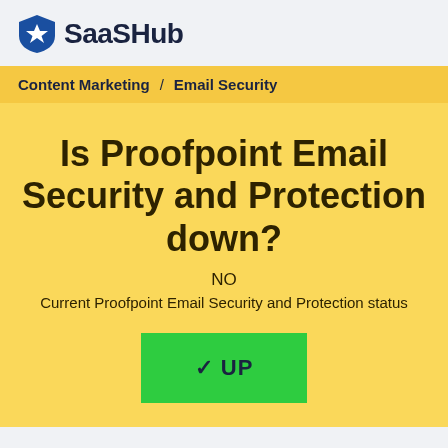SaaSHub
Content Marketing / Email Security
Is Proofpoint Email Security and Protection down?
NO
Current Proofpoint Email Security and Protection status
✓ UP